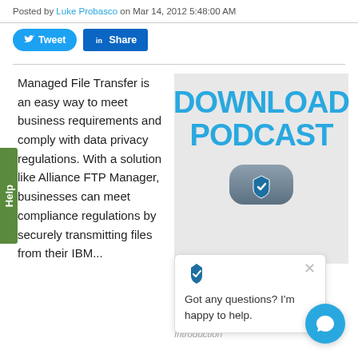Posted by Luke Probasco on Mar 14, 2012 5:48:00 AM
[Figure (screenshot): Tweet and LinkedIn Share social media buttons]
Managed File Transfer is an easy way to meet business requirements and comply with data privacy regulations. With a solution like Alliance FTP Manager, businesses can meet compliance regulations by securely transmitting files from their IBM...
[Figure (screenshot): Download Podcast promotional box with blue text and podcast icon on grey background]
[Figure (screenshot): Chat popup with shield icon saying: Got any questions? I'm happy to help.]
Download podcast "Secure Managed File Transfer Introduction"
[Figure (screenshot): Blue circular chat bubble button in bottom right corner]